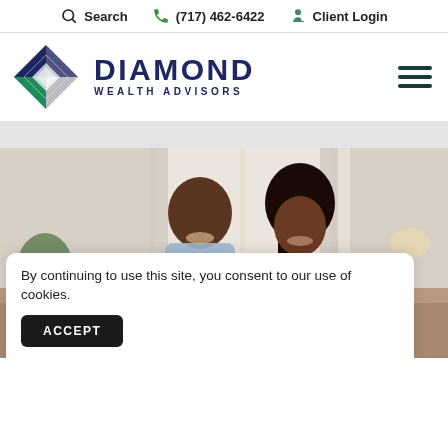Search  (717) 462-6422  Client Login
[Figure (logo): Diamond Wealth Advisors logo with diamond shape in dark blue, green and gray, with hamburger menu icon on right]
[Figure (photo): A smiling couple sitting together on a couch in a bright living room]
By continuing to use this site, you consent to our use of cookies.
ACCEPT